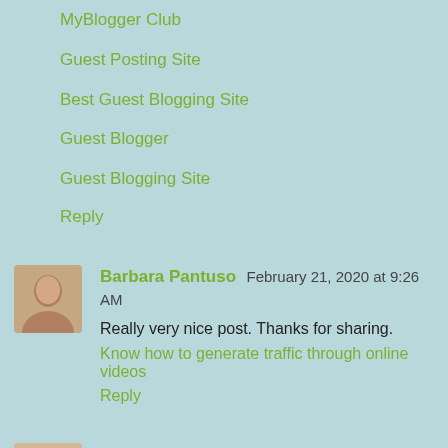MyBlogger Club
Guest Posting Site
Best Guest Blogging Site
Guest Blogger
Guest Blogging Site
Reply
Barbara Pantuso  February 21, 2020 at 9:26 AM
Really very nice post. Thanks for sharing.
Know how to generate traffic through online videos
Reply
Emma Ludwig  February 24, 2020 at 10:09 AM